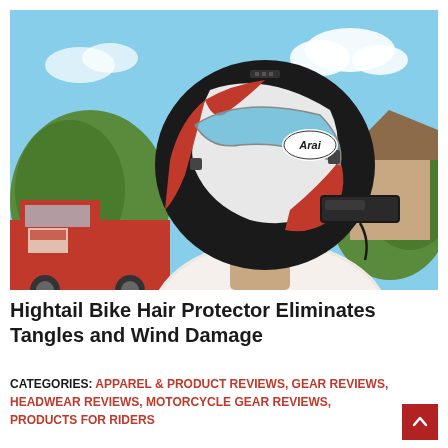[Figure (photo): A person wearing a red, white and black Arai motorcycle helmet viewed from the side/back, with a Bluetooth communication device attached to the helmet. The person is wearing a white lace top. Background shows trees, a house, and a red truck outdoors.]
Hightail Bike Hair Protector Eliminates Tangles and Wind Damage
CATEGORIES: APPAREL & PRODUCT REVIEWS, GEAR REVIEWS, HEADWEAR REVIEWS, MOTORCYCLE GEAR REVIEWS, PRODUCTS FOR RIDERS